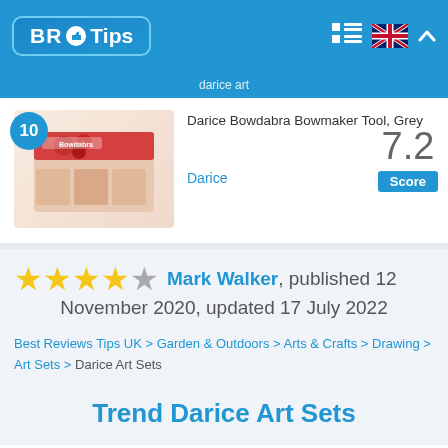BR Tips
Darice Bowdabra Bowmaker Tool, Grey
Darice
Score: 7.2
★★★★☆ Mark Walker, published 12 November 2020, updated 17 July 2022
Best Reviews Tips UK > Garden & Outdoors > Arts & Crafts > Drawing > Art Sets > Darice Art Sets
Trend Darice Art Sets